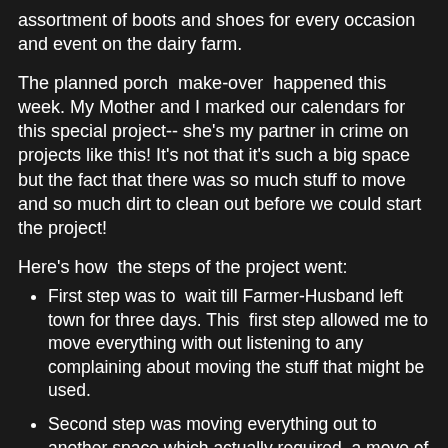assortment of boots and shoes for every occasion and event on the dairy farm.
The planned porch  make-over  happened this week. My Mother and I marked our calendars for this special project-- she's my partner in crime on projects like this! It's not that it's such a big space but the fact that there was so much stuff to move and so much dirt to clean out before we could start the project!
Here's how  the steps of the project went:
First step was to  wait till Farmer-Husband left town for three days. This  first step allowed me to move everything with out listening to any complaining about moving the stuff that might be used.
Second step was moving everything out to another space which actually required  a move of more of Farmer-Husband's stuff without his permission. Good reason for step number one.
Third step was back-breaking , knee bruising